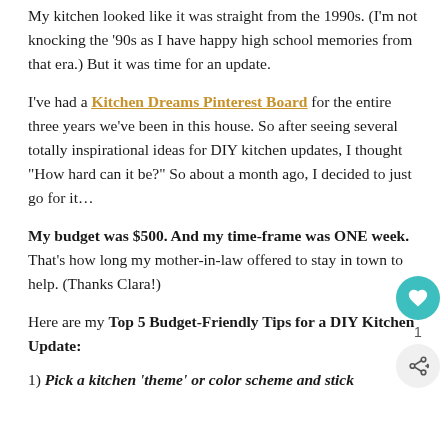My kitchen looked like it was straight from the 1990s. (I'm not knocking the '90s as I have happy high school memories from that era.) But it was time for an update.
I've had a Kitchen Dreams Pinterest Board for the entire three years we've been in this house. So after seeing several totally inspirational ideas for DIY kitchen updates, I thought "How hard can it be?" So about a month ago, I decided to just go for it…
My budget was $500. And my time-frame was ONE week. That's how long my mother-in-law offered to stay in town to help. (Thanks Clara!)
Here are my Top 5 Budget-Friendly Tips for a DIY Kitchen Update:
1) Pick a kitchen 'theme' or color scheme and stick